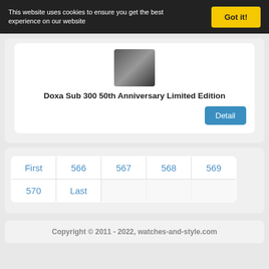This website uses cookies to ensure you get the best experience on our website
Got it!
[Figure (photo): Partial image of a dark watch face or dial]
Doxa Sub 300 50th Anniversary Limited Edition
Detail
| First | 566 | 567 | 568 | 569 |
| 570 | Last |  |  |  |
Copyright © 2011 - 2022, watches-and-style.com